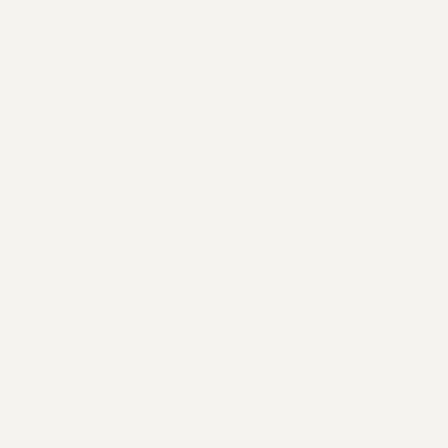Grammar school, is known to ha- number of white adults who can- we shall find about one-twenty-n- not diminish crime, there should-
a tion found among the convicts; educated. But what is the trne sta- read; showing that the tendency t- ought to be, on the supposition th-
Well may we adopt the language- intend to sit still and see this fair- Europe? Will they supinely wait- Europe green fields and splendid- and jails and alms-houses ?
“If a rich man dies the law app- property, they must be educated, must be fondled, and nursed, and-
" It would be a pity if a young- wring its hands and sigh, and ma- guardian appointed for him ? Yo- charge when there is no other re- worse.
"The alms-house and the jail a-